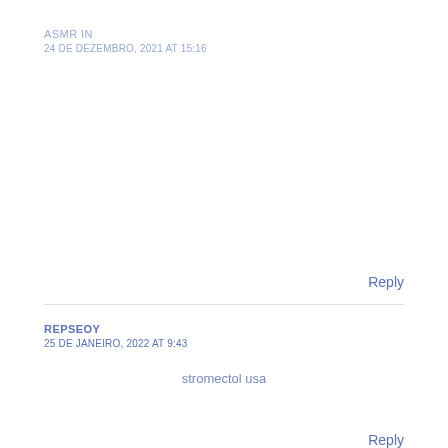ASMR IN
24 DE DEZEMBRO, 2021 AT 15:16
Reply
REPSEOY
25 DE JANEIRO, 2022 AT 9:43
stromectol usa
Reply